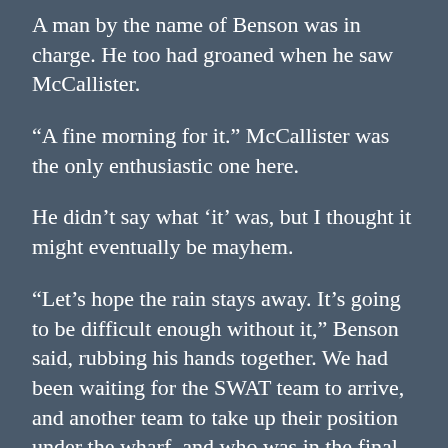A man by the name of Benson was in charge. He too had groaned when he saw McCallister.
“A fine morning for it.” McCallister was the only enthusiastic one here.
He didn’t say what ‘it’ was, but I thought it might eventually be mayhem.
“Let’s hope the rain stays away. It’s going to be difficult enough without it,” Benson said, rubbing his hands together. We had been waiting for the SWAT team to arrive, and another team to take up their position under the wharf, and who was in the final stages of securing their position.
While we were waiting we drew up the plan. I’d go in first to check on what we were